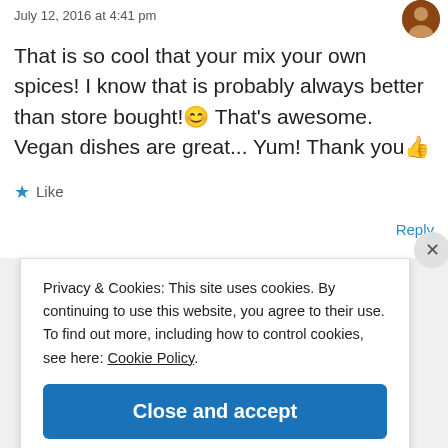July 12, 2016 at 4:41 pm
That is so cool that your mix your own spices! I know that is probably always better than store bought! 😄 That's awesome. Vegan dishes are great... Yum! Thank you 👍
★ Like
Reply
Privacy & Cookies: This site uses cookies. By continuing to use this website, you agree to their use.
To find out more, including how to control cookies, see here: Cookie Policy
Close and accept